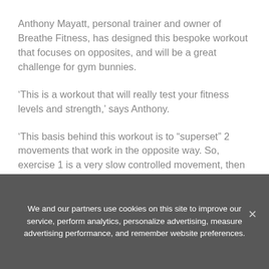Anthony Mayatt, personal trainer and owner of Breathe Fitness, has designed this bespoke workout that focuses on opposites, and will be a great challenge for gym bunnies.
‘This is a workout that will really test your fitness levels and strength,’ says Anthony.
‘This basis behind this workout is to “superset” 2 movements that work in the opposite way. So, exercise 1 is a very slow controlled movement, then exercise 2 is fast and explosive – but works the same or similar muscle group.
We and our partners use cookies on this site to improve our service, perform analytics, personalize advertising, measure advertising performance, and remember website preferences.